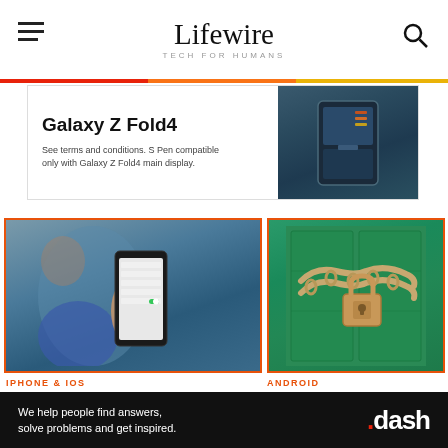Lifewire TECH FOR HUMANS
[Figure (screenshot): Samsung Galaxy Z Fold4 advertisement banner with product image and text: 'Galaxy Z Fold4 - See terms and conditions. S Pen compatible only with Galaxy Z Fold4 main display.']
[Figure (photo): Person holding a smartphone displaying settings screen, blurred background]
IPHONE & IOS
How to Turn off or Disable Find My iPhone
[Figure (photo): Green painted wooden doors secured with a chain and padlock]
ANDROID
How to Encrypt Data on an Android or iOS Device
[Figure (screenshot): Dash advertisement banner: 'We help people find answers, solve problems and get inspired. .dash']